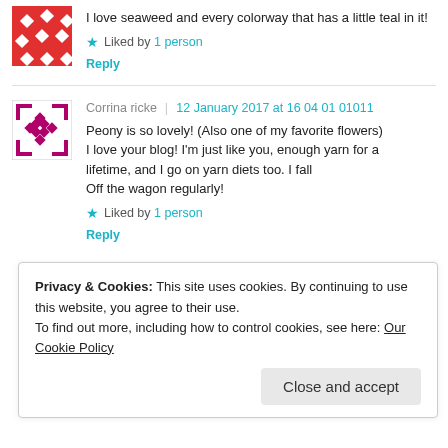I love seaweed and every colorway that has a little teal in it!
Liked by 1 person
Reply
[Figure (illustration): Red and white geometric avatar icon]
Corrina ricke  12 January 2017 at 16 04 01 01011
Peony is so lovely! (Also one of my favorite flowers) I love your blog! I'm just like you, enough yarn for a lifetime, and I go on yarn diets too. I fall Off the wagon regularly!
Liked by 1 person
Reply
Privacy & Cookies: This site uses cookies. By continuing to use this website, you agree to their use. To find out more, including how to control cookies, see here: Our Cookie Policy